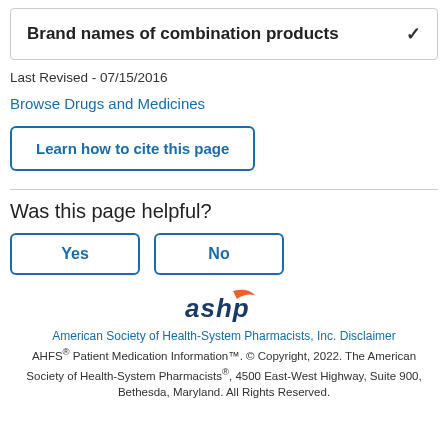Brand names of combination products
Last Revised - 07/15/2016
Browse Drugs and Medicines
Learn how to cite this page
Was this page helpful?
Yes
No
[Figure (logo): ASHP logo - orange and blue stylized text reading 'ashp' with orange swoosh accent]
American Society of Health-System Pharmacists, Inc. Disclaimer AHFS® Patient Medication Information™. © Copyright, 2022. The American Society of Health-System Pharmacists®, 4500 East-West Highway, Suite 900, Bethesda, Maryland. All Rights Reserved.